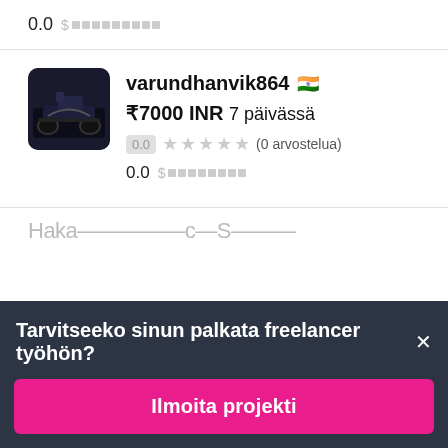0.0  $ ██████████
varundhanvik864 🇮🇳
₹7000 INR 7 päivässä
0.0 ★★★★★ (0 arvostelua)
0.0  $ ██████████
Tarvitseeko sinun palkata freelancer työhön? ✕
Ilmoita projekti